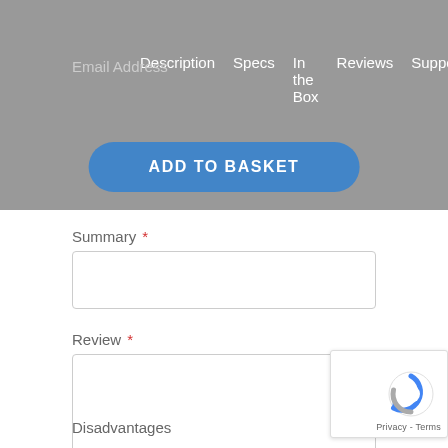Description  Specs  In the Box  Reviews  Support
Email Address
ADD TO BASKET
Summary *
Review *
Advantages
Disadvantages